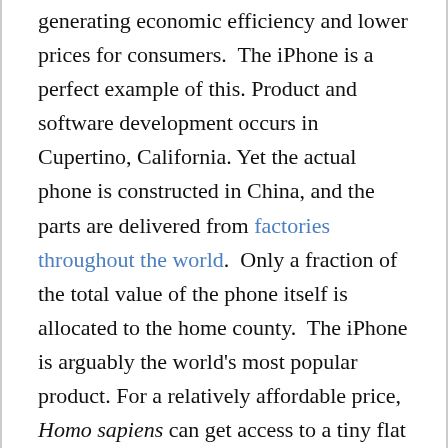generating economic efficiency and lower prices for consumers.  The iPhone is a perfect example of this. Product and software development occurs in Cupertino, California. Yet the actual phone is constructed in China, and the parts are delivered from factories throughout the world.  Only a fraction of the total value of the phone itself is allocated to the home county.  The iPhone is arguably the world's most popular product. For a relatively affordable price, Homo sapiens can get access to a tiny flat box that provides nearly an unlimited number of applications in the palm of their opposable-thumbed hands, and which simultaneously connects each human to the Great Global Social Network...